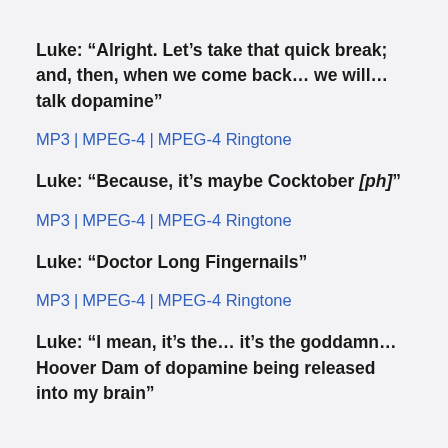Luke: “Alright. Let’s take that quick break; and, then, when we come back… we will… talk dopamine”
MP3 | MPEG-4 | MPEG-4 Ringtone
Luke: “Because, it’s maybe Cocktober [ph]”
MP3 | MPEG-4 | MPEG-4 Ringtone
Luke: “Doctor Long Fingernails”
MP3 | MPEG-4 | MPEG-4 Ringtone
Luke: “I mean, it’s the… it’s the goddamn… Hoover Dam of dopamine being released into my brain”